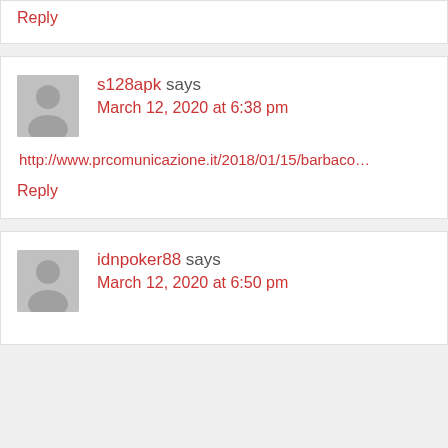Reply
s128apk says
March 12, 2020 at 6:38 pm
http://www.prcomunicazione.it/2018/01/15/barbaco...
Reply
idnpoker88 says
March 12, 2020 at 6:50 pm